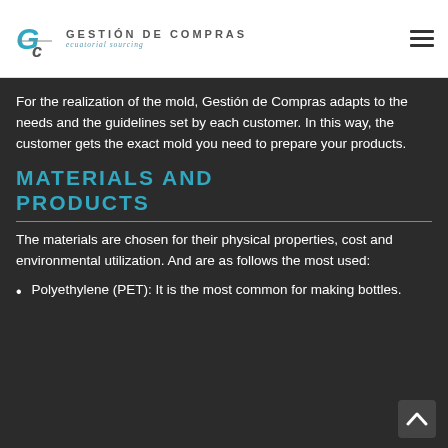Gestión de Compras — ecuatorial sourcing
For the realization of the mold, Gestión de Compras adapts to the needs and the guidelines set by each customer. In this way, the customer gets the exact mold you need to prepare your products.
Materials and products
The materials are chosen for their physical properties, cost and environmental utilization. And are as follows the most used:
Polyethylene (PET): It is the most common for making bottles.